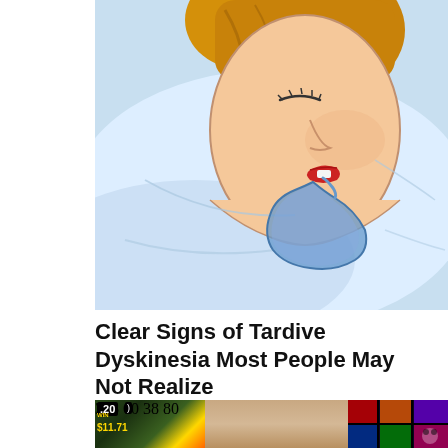[Figure (illustration): Cartoon/illustration of a woman sleeping on a pillow with her mouth open, drooling (blue saliva pool on the pillow). The figure has red lips and brown hair.]
Clear Signs of Tardive Dyskinesia Most People May Not Realize
Tardive Dyskinesia | Search Ad
[Figure (photo): Partial photo of a person in front of slot machines in a casino. Slot machine on the left shows '.20' and '$11.71'. Casino lighting visible on the right with colorful LED displays.]